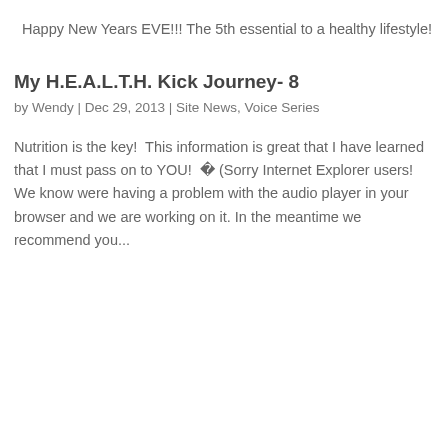Happy New Years EVE!!! The 5th essential to a healthy lifestyle!
My H.E.A.L.T.H. Kick Journey- 8
by Wendy | Dec 29, 2013 | Site News, Voice Series
Nutrition is the key!  This information is great that I have learned that I must pass on to YOU!  � (Sorry Internet Explorer users! We know were having a problem with the audio player in your browser and we are working on it. In the meantime we recommend you...